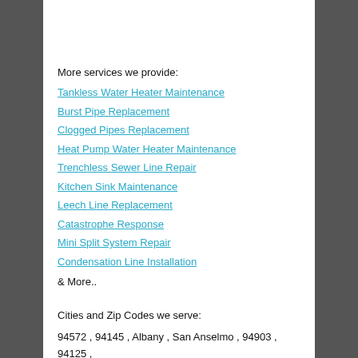More services we provide:
Tankless Water Heater Maintenance
Burst Pipe Replacement
Clogged Pipes Replacement
Heat Pump Water Heater Maintenance
Trenchless Sewer Line Repair
Kitchen Sink Maintenance
Leech Line Replacement
Catastrophe Response
Mini Split System Repair
Condensation Line Installation
& More..
Cities and Zip Codes we serve:
94572 , 94145 , Albany , San Anselmo , 94903 , 94125 , 94144 , 94609 , 94804 , 94596 , Hercules , 94110 ,